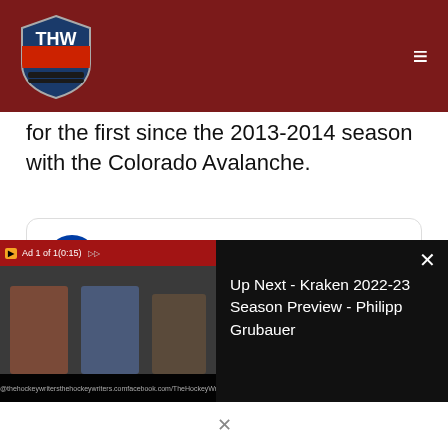THW - The Hockey Writers
for the first since the 2013-2014 season with the Colorado Avalanche.
[Figure (screenshot): Embedded tweet from Sportsnet (@Sportsnet) with text: The kid has moves. 👀 Morgan Barron sets up Paul Stastny for his 20th of the year to give the]
[Figure (screenshot): Video ad overlay showing 'Ad 1 of 1 (0:15)' with panel of three people and Up Next - Kraken 2022-23 Season Preview - Philipp Grubauer]